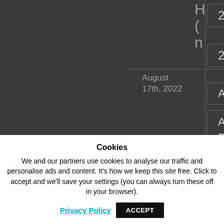[Figure (screenshot): Website navigation/sidebar showing year filters (2019, 2020), category filters (Accessories, Alvaro Bautista, Andrea), date (August 17th, 2022), and a partial H(g n heading cropped. A motorcycle photo thumbnail is visible with partial text Fi R B C.]
Cookies
We and our partners use cookies to analyse our traffic and personalise ads and content. It's how we keep this site free. Click to accept and we'll save your settings (you can always turn these off in your browser).
Privacy Policy   ACCEPT